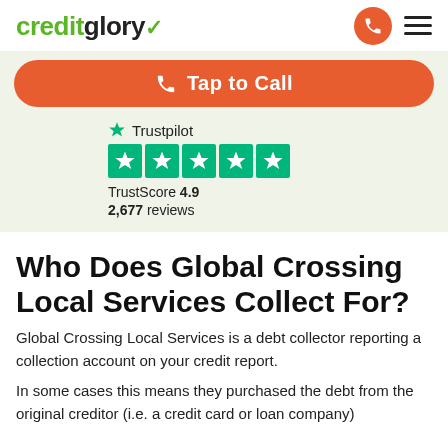creditglory (logo) | phone icon | menu icon
[Figure (other): Orange rounded button with phone icon and text 'Tap to Call']
[Figure (other): Trustpilot widget showing star logo, 5 green stars, TrustScore 4.9, 2,677 reviews]
Who Does Global Crossing Local Services Collect For?
Global Crossing Local Services is a debt collector reporting a collection account on your credit report.
In some cases this means they purchased the debt from the original creditor (i.e. a credit card or loan company)